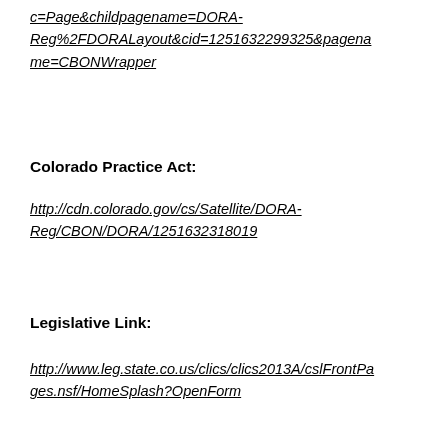c=Page&childpagename=DORA-Reg%2FDORALayout&cid=1251632299325&pagename=CBONWrapper
Colorado Practice Act:
http://cdn.colorado.gov/cs/Satellite/DORA-Reg/CBON/DORA/1251632318019
Legislative Link:
http://www.leg.state.co.us/clics/clics2013A/cslFrontPages.nsf/HomeSplash?OpenForm